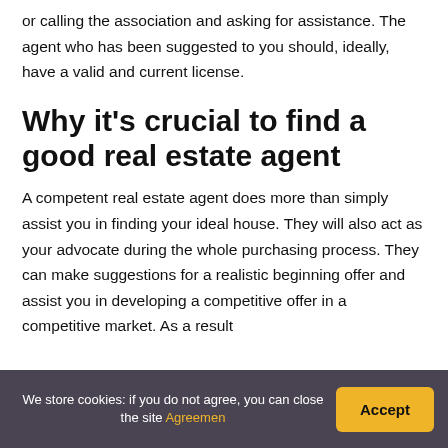or calling the association and asking for assistance. The agent who has been suggested to you should, ideally, have a valid and current license.
Why it's crucial to find a good real estate agent
A competent real estate agent does more than simply assist you in finding your ideal house. They will also act as your advocate during the whole purchasing process. They can make suggestions for a realistic beginning offer and assist you in developing a competitive offer in a competitive market. As a result
We store cookies: if you do not agree, you can close the site Agreemen